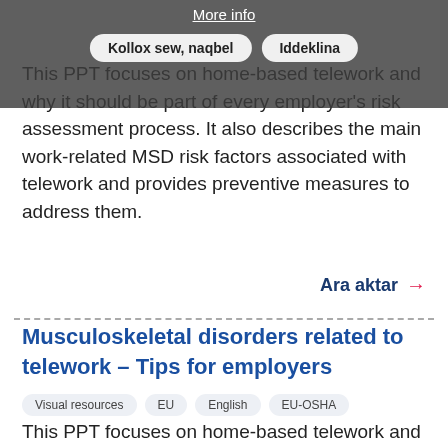More info | Kollox sew, naqbel | Iddeklina
This PPT focuses on home-based telework and why it should be part of every employer's risk assessment process. It also describes the main work-related MSD risk factors associated with telework and provides preventive measures to address them.
Ara aktar →
Musculoskeletal disorders related to telework – Tips for employers
Visual resources  EU  English  EU-OSHA
This PPT focuses on home-based telework and why it should be part of every employer's risk assessment process. It also brings up how employers should establish a telework policy that